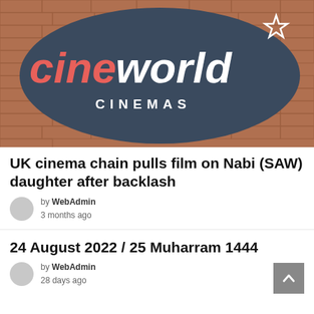[Figure (photo): Cineworld Cinemas sign: dark navy oval logo with 'cine' in red italic and 'world' in white italic, 'CINEMAS' in white spaced capitals below, star icon top right, against a brick wall background.]
UK cinema chain pulls film on Nabi (SAW) daughter after backlash
by WebAdmin
3 months ago
24 August 2022 / 25 Muharram 1444
by WebAdmin
28 days ago